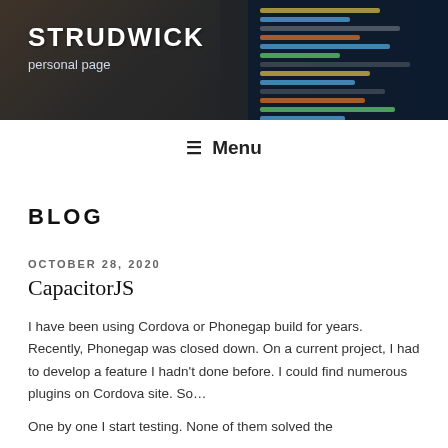[Figure (photo): Blog header banner with dark background showing a person at a computer and code on screen on the right side, with site title STRUDWICK and tagline 'personal page' overlaid in white text]
STRUDWICK
personal page
≡ Menu
BLOG
OCTOBER 28, 2020
CapacitorJS
I have been using Cordova or Phonegap build for years. Recently, Phonegap was closed down. On a current project, I had to develop a feature I hadn't done before. I could find numerous plugins on Cordova site. So…
One by one I start testing. None of them solved the